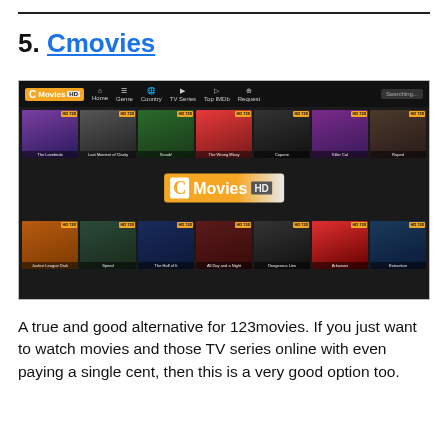5. Cmovies
[Figure (screenshot): Screenshot of Cmovies HD website showing a dark-themed movie streaming interface with navigation bar (Home, Genre, Country, TV Series, Top IMDb, Request, Search) and two rows of movie thumbnails including The Lovebirds, Last Moment of Clarity, Scoob!, The Wrong Missy, Capone, Killer Cal, Roped, Justice League Dark Apokolips War, Speed, The Half of It, All Day and a Night, Dangerous Lies, Arkansas, Extraction. A large CMovies HD logo is displayed in the center.]
A true and good alternative for 123movies. If you just want to watch movies and those TV series online with even paying a single cent, then this is a very good option too.